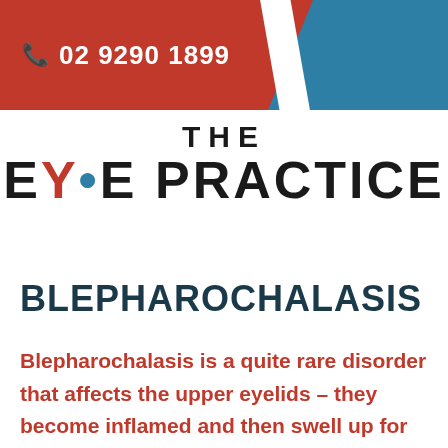02 9290 1899
[Figure (logo): The Eye Practice logo with stylized E-Y-E lettering where Y has red and blue coloring]
BLEPHAROCHALASIS
Blepharochalasis is a quite rare disorder that affects the upper eyelids – they become inflamed and then swell up for [...]